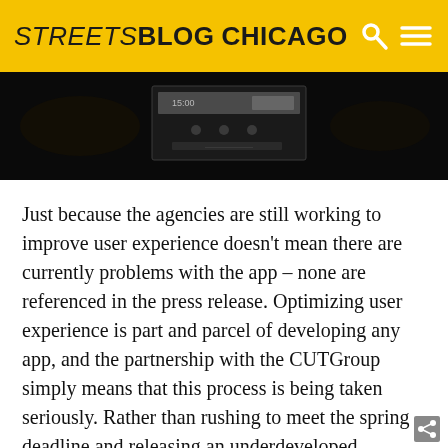STREETSBLOG CHICAGO
[Figure (screenshot): Dark photo strip showing a mobile device screen with UI elements, on a dark background]
Just because the agencies are still working to improve user experience doesn't mean there are currently problems with the app – none are referenced in the press release. Optimizing user experience is part and parcel of developing any app, and the partnership with the CUTGroup simply means that this process is being taken seriously. Rather than rushing to meet the spring deadline and releasing an underdeveloped product, it makes sense to push back the target date.